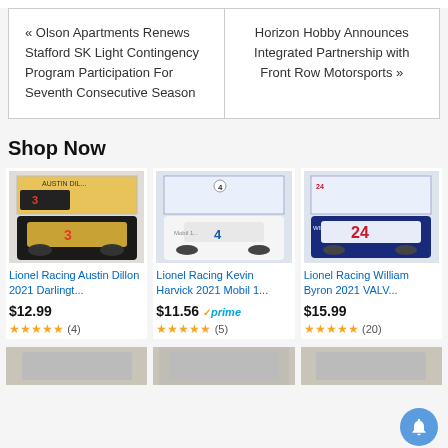« Olson Apartments Renews Stafford SK Light Contingency Program Participation For Seventh Consecutive Season
Horizon Hobby Announces Integrated Partnership with Front Row Motorsports »
Shop Now
[Figure (photo): Lionel Racing Austin Dillon 2021 Darlington die-cast car product photo]
Lionel Racing Austin Dillon 2021 Darlingt...
$12.99
★★★★★ (4)
[Figure (photo): Lionel Racing Kevin Harvick 2021 Mobil 1 die-cast car product photo]
Lionel Racing Kevin Harvick 2021 Mobil 1...
$11.56 ✓prime
★★★★★ (5)
[Figure (photo): Lionel Racing William Byron 2021 VALV... die-cast car product photo]
Lionel Racing William Byron 2021 VALV...
$15.99
★★★★★ (20)
[Figure (photo): Bottom row product thumbnails partially visible]